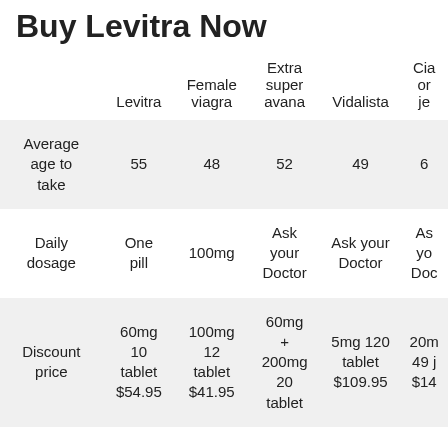Buy Levitra Now
|  | Levitra | Female viagra | Extra super avana | Vidalista | Cia- oral je- |
| --- | --- | --- | --- | --- | --- |
| Average age to take | 55 | 48 | 52 | 49 | 6 |
| Daily dosage | One pill | 100mg | Ask your Doctor | Ask your Doctor | As yo Doc |
| Discount price | 60mg 10 tablet $54.95 | 100mg 12 tablet $41.95 | 60mg + 200mg 20 tablet | 5mg 120 tablet $109.95 | 20m 49 j $14 |